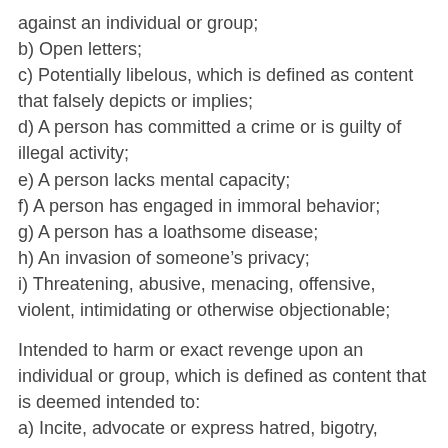against an individual or group;
b) Open letters;
c) Potentially libelous, which is defined as content that falsely depicts or implies;
d) A person has committed a crime or is guilty of illegal activity;
e) A person lacks mental capacity;
f) A person has engaged in immoral behavior;
g) A person has a loathsome disease;
h) An invasion of someone’s privacy;
i) Threatening, abusive, menacing, offensive, violent, intimidating or otherwise objectionable;
Intended to harm or exact revenge upon an individual or group, which is defined as content that is deemed intended to:
a) Incite, advocate or express hatred, bigotry, racism or gratuitous violence;